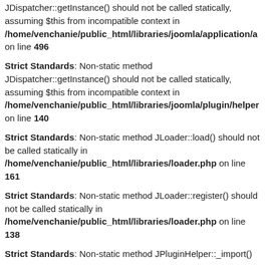JDispatcher::getInstance() should not be called statically, assuming $this from incompatible context in /home/venchanie/public_html/libraries/joomla/application/a on line 496
Strict Standards: Non-static method JDispatcher::getInstance() should not be called statically, assuming $this from incompatible context in /home/venchanie/public_html/libraries/joomla/plugin/helper on line 140
Strict Standards: Non-static method JLoader::load() should not be called statically in /home/venchanie/public_html/libraries/loader.php on line 161
Strict Standards: Non-static method JLoader::register() should not be called statically in /home/venchanie/public_html/libraries/loader.php on line 138
Strict Standards: Non-static method JPluginHelper::_import()